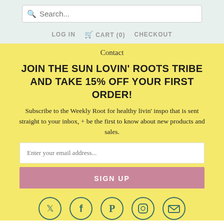Search... | LOG IN | CART (0) | CHECKOUT
Contact
JOIN THE SUN LOVIN' ROOTS TRIBE AND TAKE 15% OFF YOUR FIRST ORDER!
Subscribe to the Weekly Root for healthy livin' inspo that is sent straight to your inbox, + be the first to know about new products and sales.
Enter your email address...
SIGN UP
[Figure (illustration): Social media icons in teal circles: Twitter, Facebook, Pinterest, Instagram, Email]